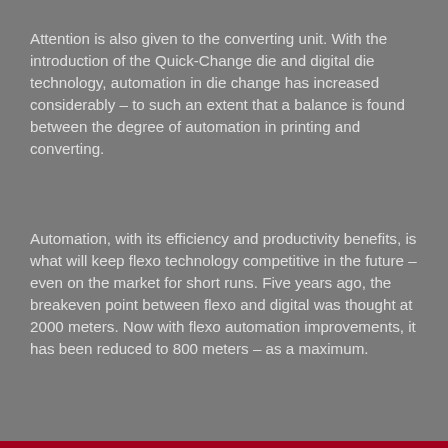Attention is also given to the converting unit. With the introduction of the Quick-Change die and digital die technology, automation in die change has increased considerably – to such an extent that a balance is found between the degree of automation in printing and converting.
Automation, with its efficiency and productivity benefits, is what will keep flexo technology competitive in the future – even on the market for short runs. Five years ago, the breakeven point between flexo and digital was thought at 2000 meters. Now with flexo automation improvements, it has been reduced to 800 meters – as a maximum.